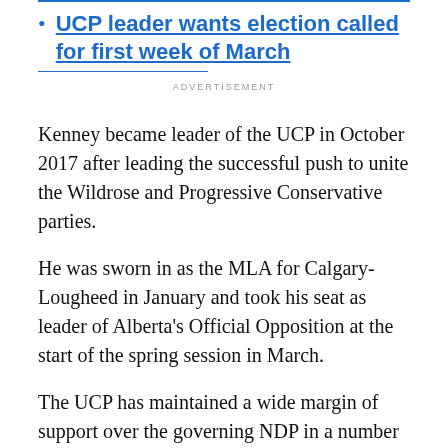UCP leader wants election called for first week of March
ADVERTISEMENT
Kenney became leader of the UCP in October 2017 after leading the successful push to unite the Wildrose and Progressive Conservative parties.
He was sworn in as the MLA for Calgary-Lougheed in January and took his seat as leader of Alberta's Official Opposition at the start of the spring session in March.
The UCP has maintained a wide margin of support over the governing NDP in a number of polls, suggesting Kenney would become premier if the election was held today.